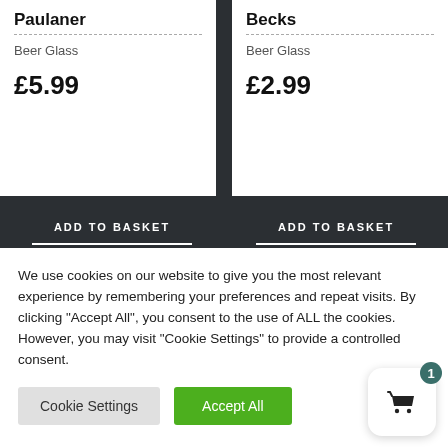Paulaner
Beer Glass
£5.99
Becks
Beer Glass
£2.99
ADD TO BASKET
ADD TO BASKET
We use cookies on our website to give you the most relevant experience by remembering your preferences and repeat visits. By clicking "Accept All", you consent to the use of ALL the cookies. However, you may visit "Cookie Settings" to provide a controlled consent.
Cookie Settings
Accept All